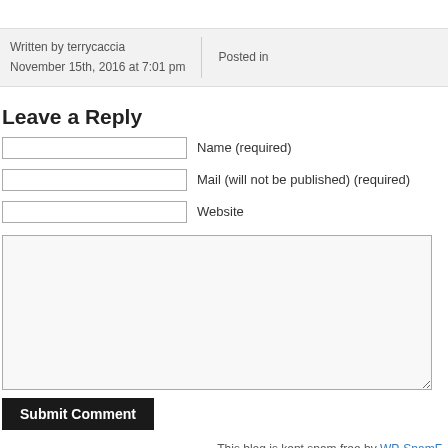Written by terrycaccia
November 15th, 2016 at 7:01 pm
Posted in
Leave a Reply
Name (required)
Mail (will not be published) (required)
Website
Submit Comment
This blog is kept spam free by WP-SpamF